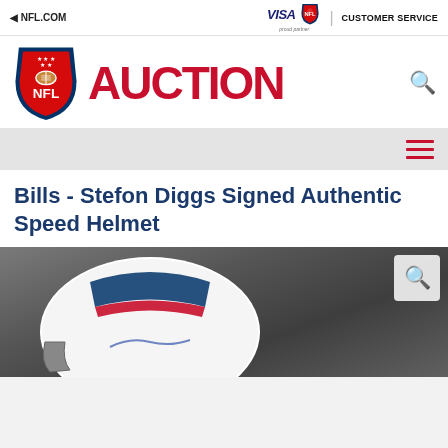NFL.COM
[Figure (logo): VISA logo and NFL shield logo with 'proud partner' text and CUSTOMER SERVICE link]
[Figure (logo): NFL Auction logo: NFL shield on left, red AUCTION text on right]
[Figure (other): Hamburger menu icon (three red horizontal lines)]
Bills - Stefon Diggs Signed Authentic Speed Helmet
[Figure (photo): Partial photo of a Buffalo Bills helmet (white with blue and red markings) on a grey background, with a magnifying glass zoom button in top-right corner]